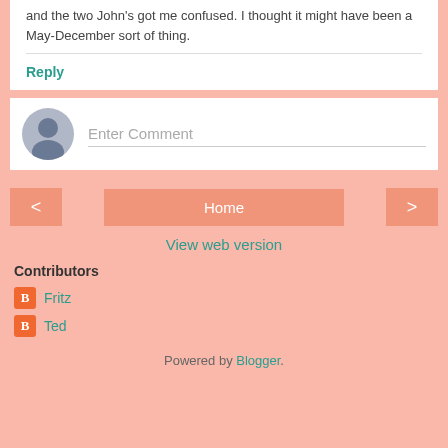and the two John's got me confused. I thought it might have been a May-December sort of thing.
Reply
Enter Comment
Home
View web version
Contributors
Fritz
Ted
Powered by Blogger.